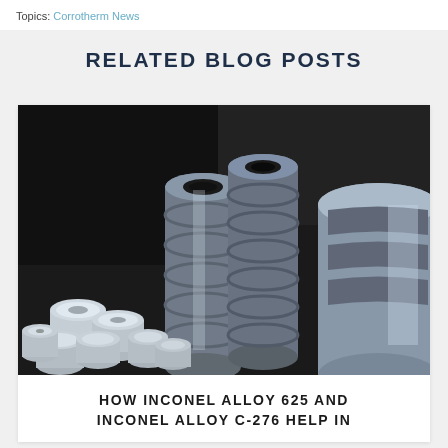Topics: Corrotherm News
RELATED BLOG POSTS
[Figure (photo): Close-up photograph of machined metal parts including cylindrical components, flanges, and precision-machined nickel alloy pieces arranged together]
HOW INCONEL ALLOY 625 AND INCONEL ALLOY C-276 HELP IN